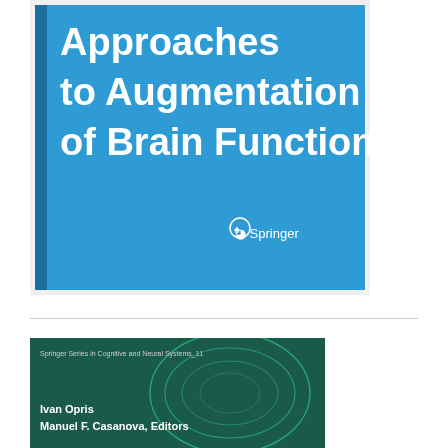[Figure (illustration): Book cover with blue background showing title 'Approaches to Augmentation of Brain Function' with Springer logo]
[Figure (illustration): Second book cover showing 'Springer Series in Cognitive and Neural Systems' with green brain imagery and authors Ivan Opris, Manual F. Casanova, Editors]